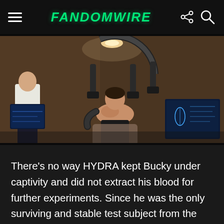FandomWire
[Figure (photo): Scene from a Marvel movie showing a shirtless man restrained in a mechanical chair with robotic arm apparatus overhead, in a dimly lit room filled with files and monitors. Another figure in a white shirt stands to the left.]
There's no way HYDRA kept Bucky under captivity and did not extract his blood for further experiments. Since he was the only surviving and stable test subject from the Winter Soldier Program, HYDRA would have decided not to waste time on perfecting the